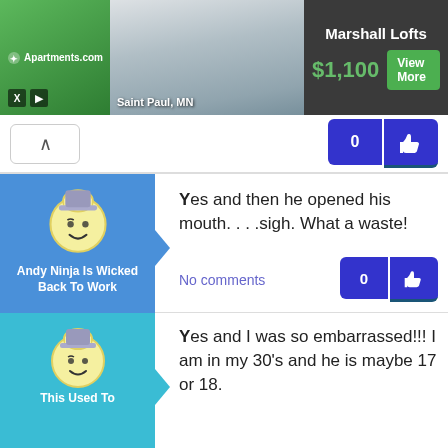[Figure (screenshot): Apartments.com advertisement banner showing Marshall Lofts in Saint Paul, MN for $1,100 with a View More button and apartment interior photo]
Yes and then he opened his mouth. . . .sigh. What a waste!
No comments
Andy Ninja Is Wicked Back To Work
Yes and I was so embarrassed!!! I am in my 30's and he is maybe 17 or 18.
This Used To